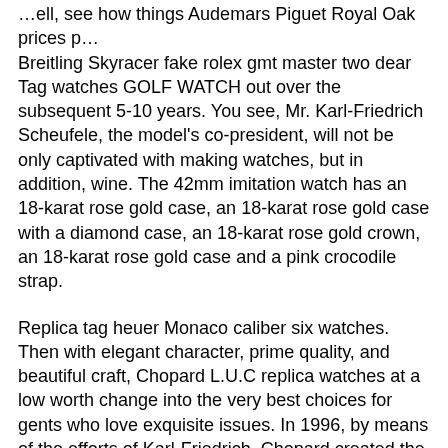…ell, see how things Audemars Piguet Royal Oak prices p… Breitling Skyracer fake rolex gmt master two dear Tag watches GOLF WATCH out over the subsequent 5-10 years. You see, Mr. Karl-Friedrich Scheufele, the model's co-president, will not be only captivated with making watches, but in addition, wine. The 42mm imitation watch has an 18-karat rose gold case, an 18-karat rose gold case with a diamond case, an 18-karat rose gold crown, an 18-karat rose gold case and a pink crocodile strap.
Replica tag heuer Monaco caliber six watches. Then with elegant character, prime quality, and beautiful craft, Chopard L.U.C replica watches at a low worth change into the very best choices for gents who love exquisite issues. In 1996, by means of the efforts of Karl-Friedrich, Chopard created the L.U.C collection and launched its very first in-home movement, the L.U.C 1.96. Which brings us again to at the moment and the reason we're here the L.U.C Heritage Grand Cru.
We offer you a close-up treatment of Breitling Chopard L.U.C…